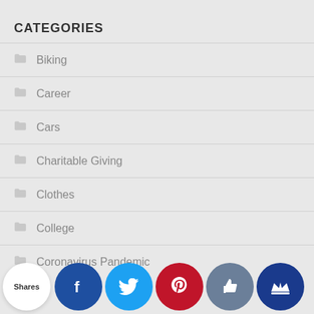CATEGORIES
Biking
Career
Cars
Charitable Giving
Clothes
College
Coronavirus Pandemic
Shares
[Figure (infographic): Social sharing icons row: Facebook (dark blue), Twitter (light blue), Pinterest (red), Likes/thumbs up (slate blue), Crown/Flipboard (dark blue)]